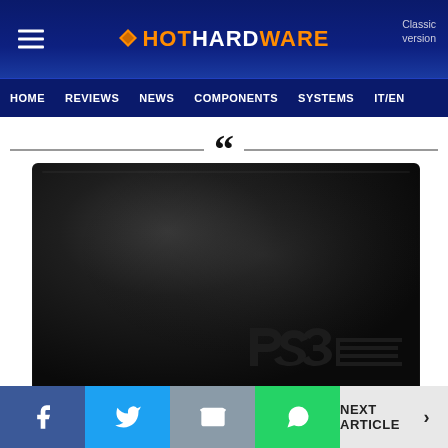HotHardware — Classic version | HOME | REVIEWS | NEWS | COMPONENTS | SYSTEMS | IT/EN
[Figure (photo): Black PS3 Slim gaming console photographed from above on a dark background, showing the PS3 logo embossed on the lower right corner]
NEXT ARTICLE >